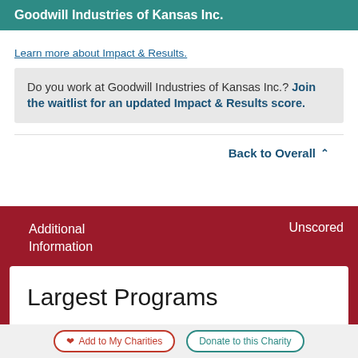Goodwill Industries of Kansas Inc.
Learn more about Impact & Results.
Do you work at Goodwill Industries of Kansas Inc.? Join the waitlist for an updated Impact & Results score.
Back to Overall
Additional Information
Unscored
Largest Programs
Add to My Charities
Donate to this Charity